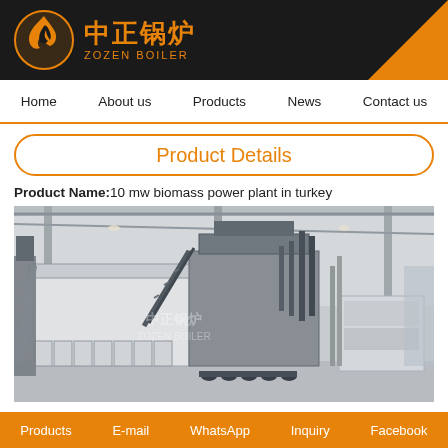[Figure (logo): ZOZEN BOILER logo with flame symbol on black background with orange triangle corner]
Home | About us | Products | News | Contact us
Product Details
Product Name: 10 mw biomass power plant in turkey
[Figure (photo): Industrial biomass boiler equipment inside a large warehouse/factory with steel structure roof. Two large white boiler units visible with piping and mechanical components.]
Products | E-mail | WhatsApp | Inquiry | Facebook